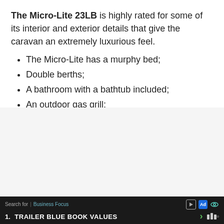The Micro-Lite 23LB is highly rated for some of its interior and exterior details that give the caravan an extremely luxurious feel.
The Micro-Lite has a murphy bed;
Double berths;
A bathroom with a bathtub included;
An outdoor gas grill;
And a countertop extension!
Search for | Business Focus  1. TRAILER BLUE BOOK VALUES